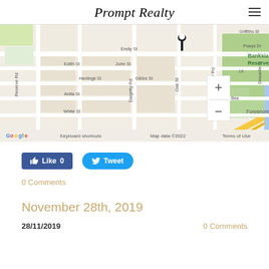Prompt Realty
[Figure (map): Google Maps showing location near Banksia Reserve, with streets including Emily St, John St, Gibbs St, Edith St, Hardinge St, Anita St, White St, Reserve Rd, Dalgetty Rd, Oak St, Cromer Rd, Griffiths St, Powys Dr, Deauville St. Map pin placed near Banksia Reserve. Zoom controls (+/-) visible on right. Shows 'Google', 'Keyboard shortcuts', 'Map data ©2022', 'Terms of Use'.]
[Figure (infographic): Facebook Like button showing 'Like 0' and Twitter Tweet button]
0 Comments
November 28th, 2019
28/11/2019
0 Comments